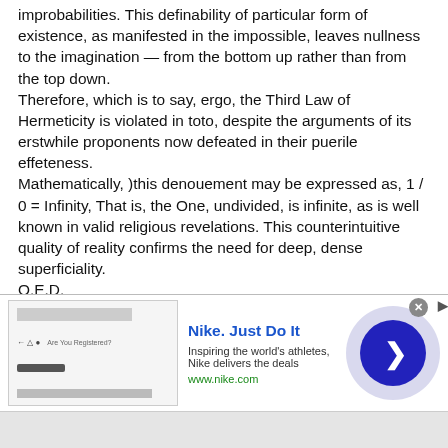improbabilities. This definability of particular form of existence, as manifested in the impossible, leaves nullness to the imagination — from the bottom up rather than from the top down.
Therefore, which is to say, ergo, the Third Law of Hermeticity is violated in toto, despite the arguments of its erstwhile proponents now defeated in their puerile effeteness.
Mathematically, )this denouement may be expressed as, 1 / 0 = Infinity, That is, the One, undivided, is infinite, as is well known in valid religious revelations. This counterintuitive quality of reality confirms the need for deep, dense superficiality.
Q.E.D.
P.S. There is no such thing as 'physical reality' since reality
[Figure (infographic): Nike advertisement banner with logo image on left, bold blue title 'Nike. Just Do It', description text 'Inspiring the world's athletes, Nike delivers the deals', green URL 'www.nike.com', and a large blue circle with right-arrow on the right. Close button (x) in top-right corner.]